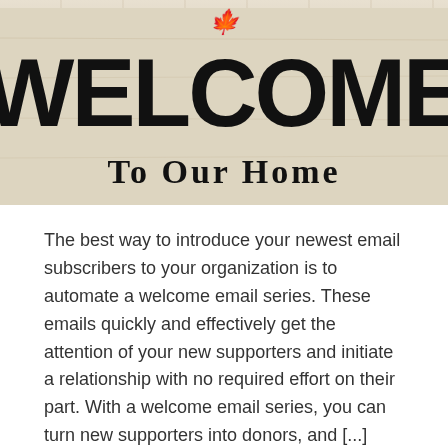[Figure (photo): A wooden welcome sign with decorative scroll at top, large bold letters spelling WELCOME, and partial text 'To Our Home' below, photographed close-up on a rustic painted wood background.]
The best way to introduce your newest email subscribers to your organization is to automate a welcome email series. These emails quickly and effectively get the attention of your new supporters and initiate a relationship with no required effort on their part. With a welcome email series, you can turn new supporters into donors, and [...]
Read More